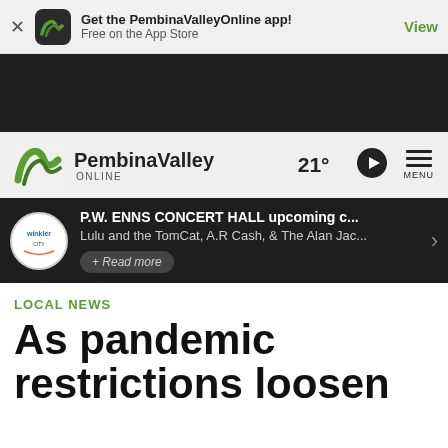Get the PembinaValleyOnline app! Free on the App Store | View
[Figure (screenshot): Dark advertisement banner area]
[Figure (logo): PembinaValley Online logo with navigation bar showing 21° temperature, play button, and menu icon]
P.W. ENNS CONCERT HALL upcoming c... Lulu and the TomCat, A.R Cash, & The Alan Jac... + Read more
LOCAL NEWS
As pandemic restrictions loosen